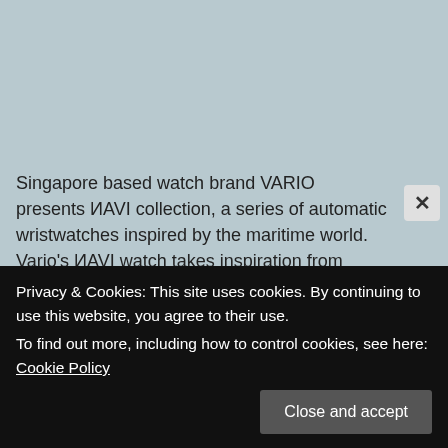Singapore based watch brand VARIO presents ИAVI collection, a series of automatic wristwatches inspired by the maritime world. Vario's ИAVI watch takes inspiration from marine vessels: a [FIND MORE DETAILS]
AVI-8 Watches: The Flyboy Royal British Legion Founder's Chronograph Limited Edition and the Flyboy Royal British Legion Chairman's Meca-Quartz Limited Edition
October 22, 2021
After the success of the Royal British Legion release in May
Privacy & Cookies: This site uses cookies. By continuing to use this website, you agree to their use.
To find out more, including how to control cookies, see here: Cookie Policy
Close and accept
Durrane Bergstrom All